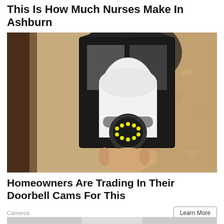This Is How Much Nurses Make In Ashburn
Registered Nurses | Search Ads
[Figure (photo): A white light bulb shaped security camera being installed into a black outdoor wall lantern fixture, mounted on a textured stucco wall. The camera has visible LED lights around the lens.]
Homeowners Are Trading In Their Doorbell Cams For This
Camerca
Learn More
[Figure (photo): Partial view of a person in white clothing, bottom of page, partially cropped.]